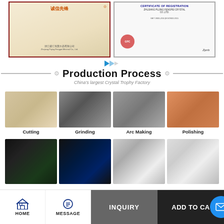[Figure (photo): Two framed certificates displayed side by side: a Chinese Alibaba gold supplier/honor certificate on the left, and an ISO certificate of registration on the right]
Production Process
China's largest Crystal Trophy Factory
[Figure (photo): Four production process photos in a grid row: Cutting, Grinding, Arc Making, Polishing — showing crystal trophy manufacturing steps]
[Figure (photo): Four production process photos in a second grid row showing: laser engraving machines with green lights, blue laser engraving equipment, CNC engraving machine with operator, and factory assembly line workers]
HOME   MESSAGE   INQUIRY   ADD TO CART